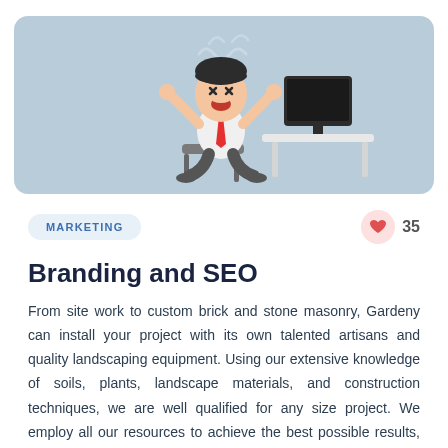[Figure (illustration): Cartoon illustration of a frustrated businessman sitting at a desk in front of a computer monitor, with wavy stress lines above his head, set against a light blue-grey rounded rectangle background.]
MARKETING
35
Branding and SEO
From site work to custom brick and stone masonry, Gardeny can install your project with its own talented artisans and quality landscaping equipment. Using our extensive knowledge of soils, plants, landscape materials, and construction techniques, we are well qualified for any size project. We employ all our resources to achieve the best possible results, no matter the project.